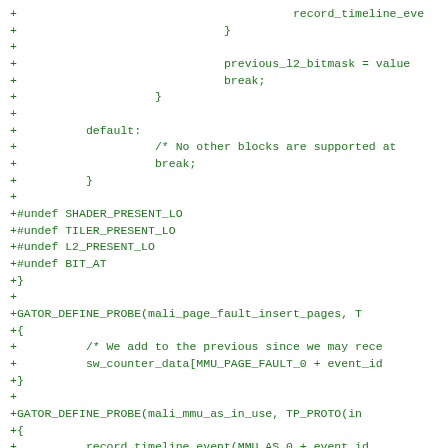+                                        record_timeline_eve
+                              }
+
+                              previous_l2_bitmask = value
+                              break;
+                    }
+
+          default:
+                    /* No other blocks are supported at
+                    break;
+          }
+
+#undef SHADER_PRESENT_LO
+#undef TILER_PRESENT_LO
+#undef L2_PRESENT_LO
+#undef BIT_AT
+}
+
+GATOR_DEFINE_PROBE(mali_page_fault_insert_pages, T
+{
+          /* We add to the previous since we may rece
+          sw_counter_data[MMU_PAGE_FAULT_0 + event_id
+}
+
+GATOR_DEFINE_PROBE(mali_mmu_as_in_use, TP_PROTO(in
+{
+          record_timeline_event(MMU_AS_0 + event_id,
+}
+
+GATOR_DEFINE_PROBE(mali_mmu_as_released, TP_PROTO(